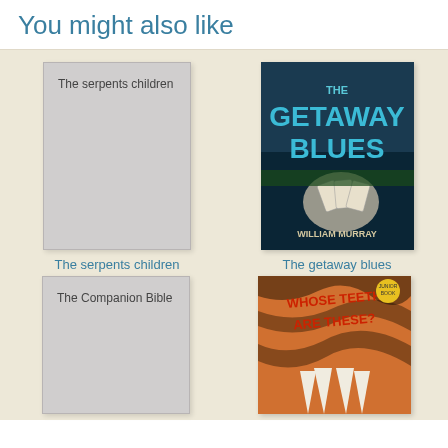You might also like
[Figure (other): Placeholder book cover for 'The serpents children' — grey rectangle with title text]
[Figure (photo): Book cover of 'The Getaway Blues' by William Murray — dark cover with large blue text and hand holding playing cards]
The serpents children
The getaway blues
[Figure (other): Placeholder book cover for 'The Companion Bible' — grey rectangle with title text]
[Figure (photo): Book cover of 'Whose Teeth Are These?' — tiger fangs on orange/red background]